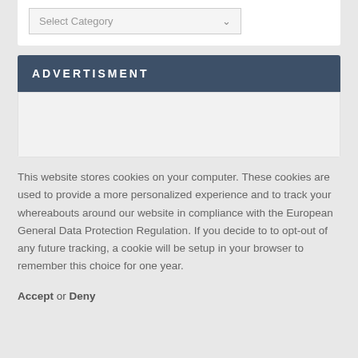[Figure (screenshot): A select dropdown UI element with placeholder text 'Select Category' and a downward chevron arrow, styled with a light gray background and border.]
ADVERTISMENT
[Figure (other): Empty advertisement placeholder area with light gray background inside a white card below the ADVERTISMENT header.]
This website stores cookies on your computer. These cookies are used to provide a more personalized experience and to track your whereabouts around our website in compliance with the European General Data Protection Regulation. If you decide to to opt-out of any future tracking, a cookie will be setup in your browser to remember this choice for one year.
Accept or Deny